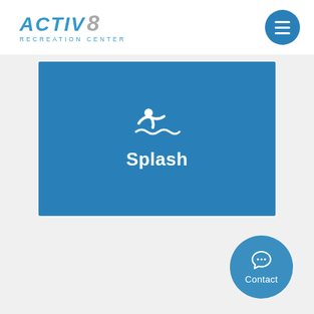[Figure (logo): ACTIV8 Recreation Center logo with blue italic text and grey 8]
[Figure (illustration): Hamburger menu button - blue circle with three white horizontal lines]
[Figure (illustration): Blue rectangular banner with white swimmer icon and bold white text 'Splash']
[Figure (illustration): Blue circle contact button with chat bubble icon and 'Contact' label in white]